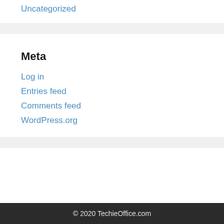Uncategorized
Meta
Log in
Entries feed
Comments feed
WordPress.org
© 2020 TechieOffice.com